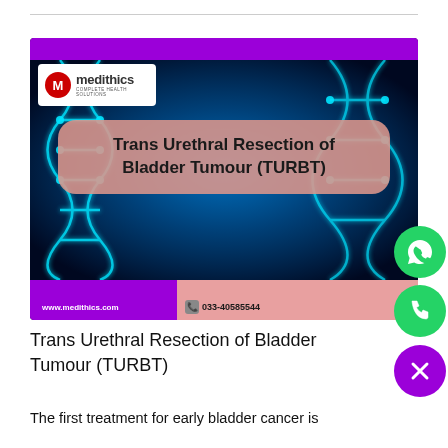[Figure (photo): Medithics branded image showing a DNA strand on dark blue background with text 'Trans Urethral Resection of Bladder Tumour (TURBT)' on a pink rounded banner, purple top and bottom bars, website www.medithics.com and phone number 033-40585544 shown at the bottom.]
Trans Urethral Resection of Bladder Tumour (TURBT)
The first treatment for early bladder cancer is